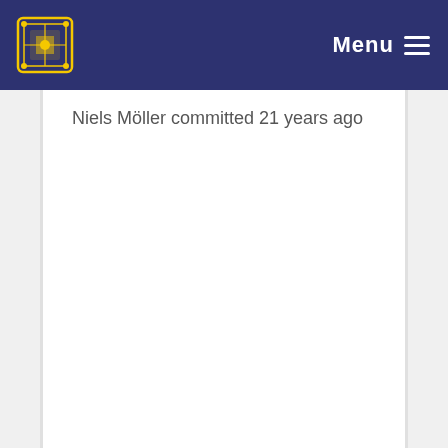Menu
Niels Möller committed 21 years ago